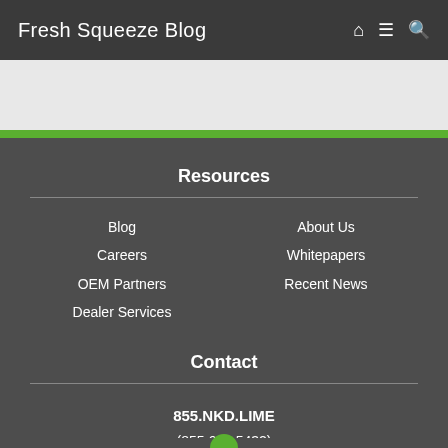Fresh Squeeze Blog
Resources
Blog
Careers
OEM Partners
Dealer Services
About Us
Whitepapers
Recent News
Contact
855.NKD.LIME
(855.653.5432)
Support@nakedlime.com
Sales@nakedlime.com